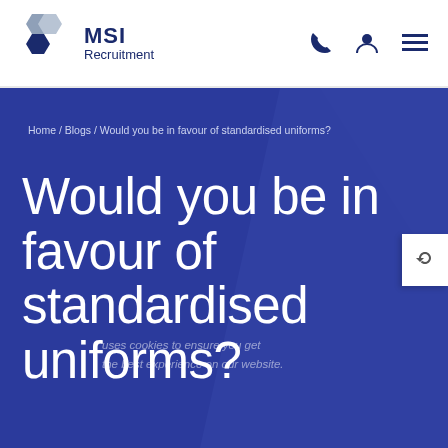[Figure (logo): MSI Recruitment logo with hexagon shapes and company name]
MSI Recruitment — navigation header with phone, user, and menu icons
Home / Blogs / Would you be in favour of standardised uniforms?
Would you be in favour of standardised uniforms?
uses cookies to ensure you get the best experience on our website.